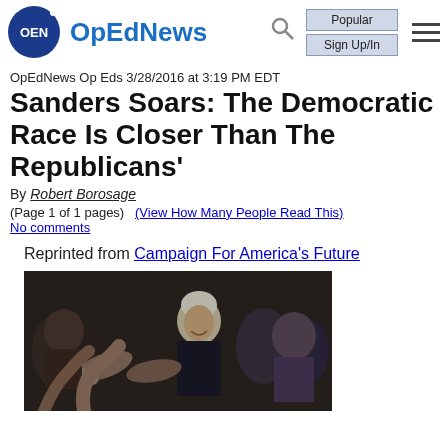OpEdNews
OpEdNews Op Eds 3/28/2016 at 3:19 PM EDT
Sanders Soars: The Democratic Race Is Closer Than The Republicans'
By Robert Borosage
(Page 1 of 1 pages)  (View How Many People Read This)
No comments
Reprinted from Campaign For America's Future
[Figure (photo): Bernie Sanders shaking hands with supporters in a crowd]